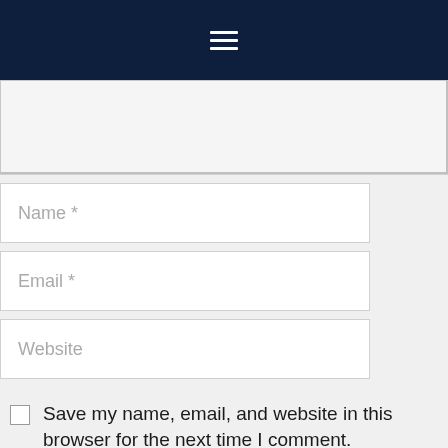Navigation menu icon (hamburger)
Name *
Email *
Website
Save my name, email, and website in this browser for the next time I comment.
Post Comment